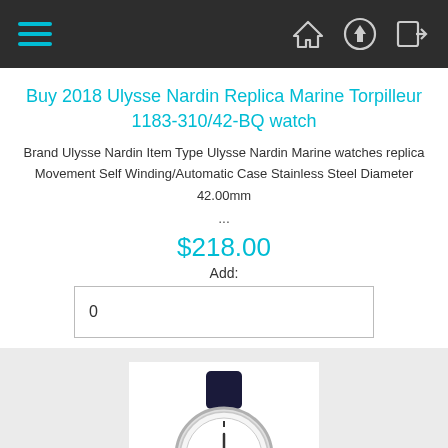Navigation bar with hamburger menu and icons
Buy 2018 Ulysse Nardin Replica Marine Torpilleur 1183-310/42-BQ watch
Brand Ulysse Nardin Item Type Ulysse Nardin Marine watches replica Movement Self Winding/Automatic Case Stainless Steel Diameter 42.00mm
...
$218.00
Add:
0
[Figure (photo): Photo of a Ulysse Nardin Marine replica watch with white dial and dark leather strap]
Buy 2018 Ulysse Nardin Replica Marine Torpilleur Military US Navy 1183-320LE watch